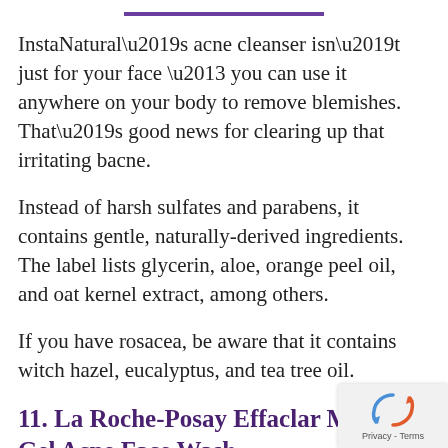InstaNatural’s acne cleanser isn’t just for your face – you can use it anywhere on your body to remove blemishes. That’s good news for clearing up that irritating bacne.
Instead of harsh sulfates and parabens, it contains gentle, naturally-derived ingredients. The label lists glycerin, aloe, orange peel oil, and oat kernel extract, among others.
If you have rosacea, be aware that it contains witch hazel, eucalyptus, and tea tree oil.
11. La Roche-Posay Effaclar Medicated Gel Acne Face Wash